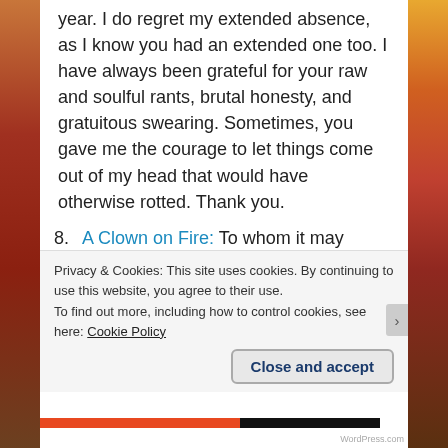year.  I do regret my extended absence, as I know you had an extended one too.  I have always been grateful for your raw and soulful rants, brutal honesty, and gratuitous swearing.  Sometimes, you gave me the courage to let things come out of my head that would have otherwise rotted.  Thank you.
8. A Clown on Fire: To whom it may concern… just joking!  To The Ringmaster, whichever entity, Eric or Le Clown I am speaking with, I am so happy we have had an exchange.  You are an incredible husband to a lovely woman with bipolar disorder, and you have helped me see on the other side of the fence
Privacy & Cookies: This site uses cookies. By continuing to use this website, you agree to their use.
To find out more, including how to control cookies, see here: Cookie Policy